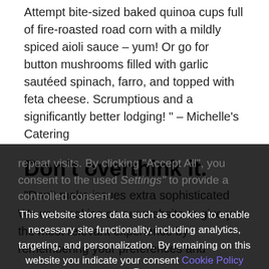Attempt bite-sized baked quinoa cups full of fire-roasted road corn with a mildly spiced aioli sauce – yum! Or go for button mushrooms filled with garlic sautéed spinach, farro, and topped with feta cheese. Scrumptious and a significantly better lodging! " – Michelle's Catering
Don't overthink it.
“Don't make issues extra sophisticated for your self! There are many scrumptious choices on the market
We use cookies on our website to give you the most relevant experience by remembering your preferences and repeat visits. By clicking "Accept All", you consent to the use. Settings" to provide a controlled consent.
This website stores data such as cookies to enable necessary site functionality, including analytics, targeting, and personalization. By remaining on this website you indicate your consent Cookie Policy ✕